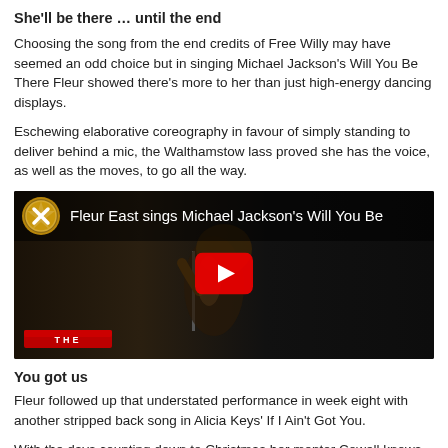She'll be there … until the end
Choosing the song from the end credits of Free Willy may have seemed an odd choice but in singing Michael Jackson's Will You Be There Fleur showed there's more to her than just high-energy dancing displays.
Eschewing elaborative coreography in favour of simply standing to deliver behind a mic, the Walthamstow lass proved she has the voice, as well as the moves, to go all the way.
[Figure (screenshot): YouTube video thumbnail showing Fleur East singing Michael Jackson's Will You Be There, with X Factor logo and red YouTube play button overlay]
You got us
Fleur followed up that understated performance in week eight with another stripped back song in Alicia Keys' If I Ain't Got You.
With the days counting down to Christmas her mentor Cowell knows how